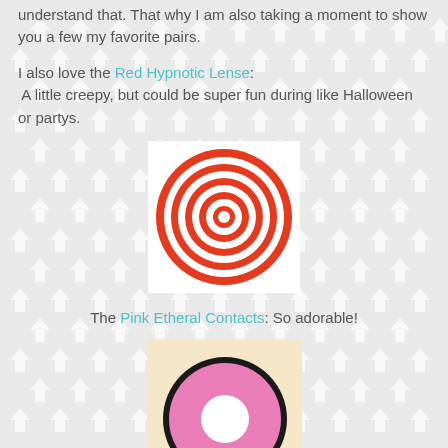understand that. That why I am also taking a moment to show you a few my favorite pairs.
I also love the Red Hypnotic Lense: A little creepy, but could be super fun during like Halloween or partys.
[Figure (illustration): Red hypnotic contact lens with concentric red and white circles on white square background]
The Pink Etheral Contacts: So adorable!
[Figure (illustration): Pink contact lens labeled SF-36 with black outline on beige square background]
Then there is also some more natural looking ones that I love like the Animation Color Lenses: (I think these are so beautiful!!)